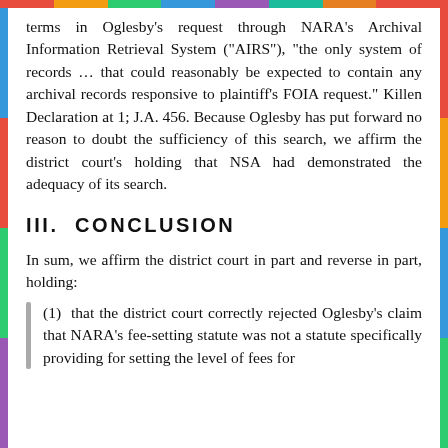terms in Oglesby's request through NARA's Archival Information Retrieval System ("AIRS"), "the only system of records ... that could reasonably be expected to contain any archival records responsive to plaintiff's FOIA request." Killen Declaration at 1; J.A. 456. Because Oglesby has put forward no reason to doubt the sufficiency of this search, we affirm the district court's holding that NSA had demonstrated the adequacy of its search.
III.  CONCLUSION
In sum, we affirm the district court in part and reverse in part, holding:
(1)  that the district court correctly rejected Oglesby's claim that NARA's fee-setting statute was not a statute specifically providing for setting the level of fees for